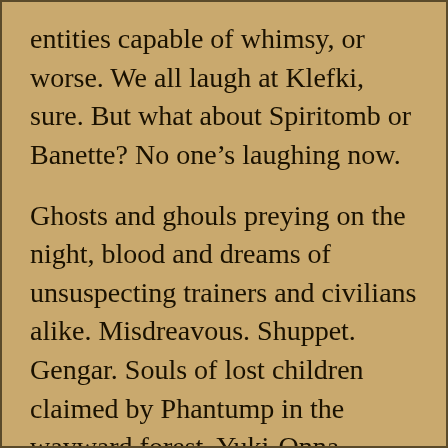entities capable of whimsy, or worse. We all laugh at Klefki, sure. But what about Spiritomb or Banette? No one's laughing now.
Ghosts and ghouls preying on the night, blood and dreams of unsuspecting trainers and civilians alike. Misdreavous. Shuppet. Gengar. Souls of lost children claimed by Phantump in the wayward forest. Yuki-Onna inspired Froslass. The Grim Reaper that is Dusknoir. While our non-Pokémon inhabited world can have all supernatural events explained away by science, one thing is certain in Kanto, Johto, Hoenn, Sinnoh Unova, Kalos and